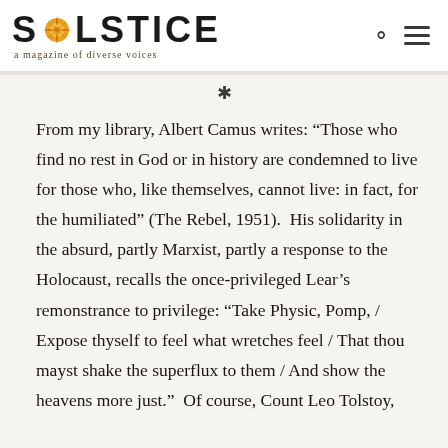SOLSTICE a magazine of diverse voices
*
From my library, Albert Camus writes: “Those who find no rest in God or in history are condemned to live for those who, like themselves, cannot live: in fact, for the humiliated” (The Rebel, 1951).  His solidarity in the absurd, partly Marxist, partly a response to the Holocaust, recalls the once-privileged Lear’s remonstrance to privilege: “Take Physic, Pomp, / Expose thyself to feel what wretches feel / That thou mayst shake the superflux to them / And show the heavens more just.”  Of course, Count Leo Tolstoy,